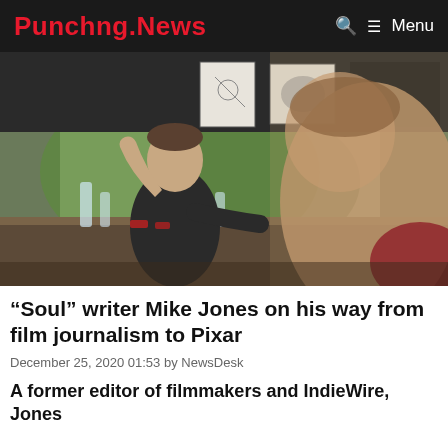Punchng.News  Menu
[Figure (photo): A man in a dark t-shirt sits at a conference table gesturing with his hand raised, speaking to other people. Artwork and drawings are visible on the wall in the background. The foreground is blurred showing another attendee.]
“Soul” writer Mike Jones on his way from film journalism to Pixar
December 25, 2020 01:53 by NewsDesk
A former editor of filmmakers and IndieWire, Jones